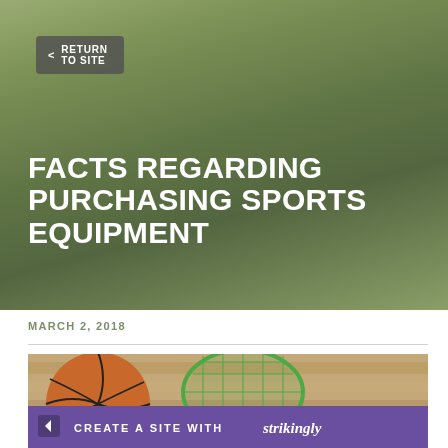[Figure (screenshot): Hero background with olive/green gradient color]
< RETURN TO SITE
FACTS REGARDING PURCHASING SPORTS EQUIPMENT
MARCH 2, 2018
[Figure (photo): Sports equipment photo showing a basketball, green tennis racket, baseball, and soccer ball arranged on a wooden surface]
CREATE A SITE WITH strikingly